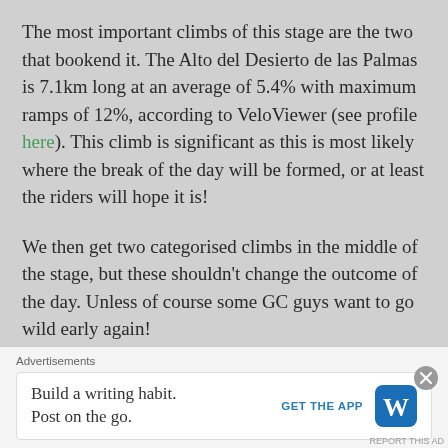The most important climbs of this stage are the two that bookend it. The Alto del Desierto de las Palmas is 7.1km long at an average of 5.4% with maximum ramps of 12%, according to VeloViewer (see profile here). This climb is significant as this is most likely where the break of the day will be formed, or at least the riders will hope it is!
We then get two categorised climbs in the middle of the stage, but these shouldn't change the outcome of the day. Unless of course some GC guys want to go wild early again!
This stage is therefore all about the final climb and the
Advertisements
Build a writing habit.
Post on the go.
GET THE APP
REPORT THIS AD